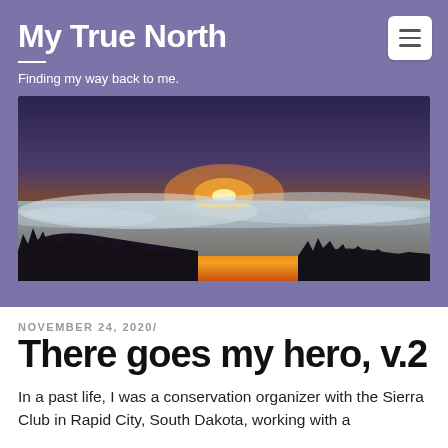My True North
Finding my way back to me.
[Figure (photo): Sunset landscape photo showing a sun setting on the horizon over a misty ocean or sea of clouds, with a silhouetted hillside and trees in the foreground. Sky is orange and red near the sun, fading to deep blue above.]
NOVEMBER 24, 2020/
There goes my hero, v.2
In a past life, I was a conservation organizer with the Sierra Club in Rapid City, South Dakota, working with a